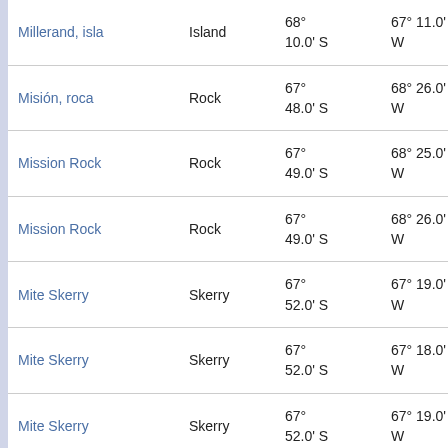| Name | Type | Latitude | Longitude | Distance |
| --- | --- | --- | --- | --- |
| Millerand, isla | Island | 68° 10.0' S | 67° 11.0' W | 76.9 k at 150 |
| Misión, roca | Rock | 67° 48.0' S | 68° 26.0' W | 28.4 k at 207 |
| Mission Rock | Rock | 67° 49.0' S | 68° 25.0' W | 29.8 k at 204 |
| Mission Rock | Rock | 67° 49.0' S | 68° 26.0' W | 30.1 k at 206 |
| Mite Skerry | Skerry | 67° 52.0' S | 67° 19.0' W | 47.2 k at 134 |
| Mite Skerry | Skerry | 67° 52.0' S | 67° 18.0' W | 47.7 k at 134 |
| Mite Skerry | Skerry | 67° 52.0' S | 67° 19.0' W | 47.2 k at 134 |
| Modolo, cabo | Cape | 67° 45.0' S | 68° 35.0' W | 27.6 k at 224 |